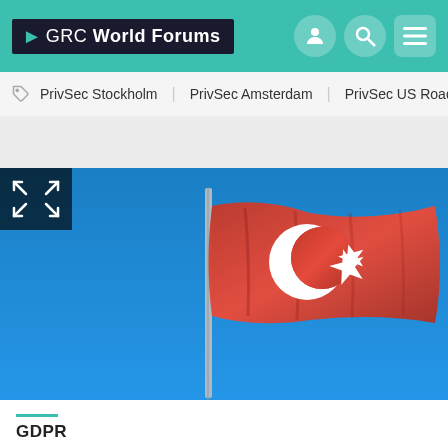GRC World Forums
PrivSec Stockholm | PrivSec Amsterdam | PrivSec US Roadshow |
[Figure (photo): Turkish flag (red with white crescent and star) waving against a clear blue sky, on a flagpole. A dark overlay panel in the top-left corner contains expand/fullscreen arrows icon.]
GDPR